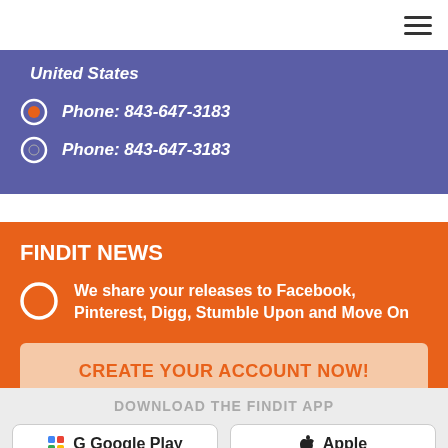≡
United States
Phone: 843-647-3183
Phone: 843-647-3183
FINDIT NEWS
We share your releases to Facebook, Pinterest, Digg, Stumble Upon and Move On
CREATE YOUR ACCOUNT NOW!
DOWNLOAD THE FINDIT APP
G Google Play
🍎 Apple